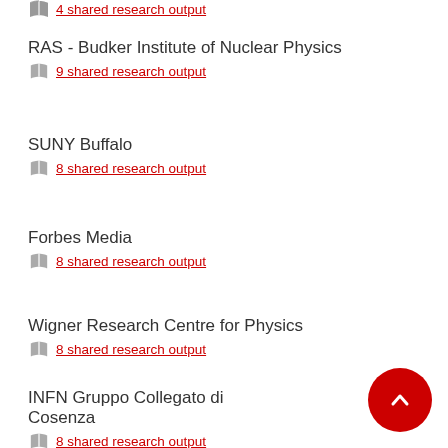4 shared research output
RAS - Budker Institute of Nuclear Physics
9 shared research output
SUNY Buffalo
8 shared research output
Forbes Media
8 shared research output
Wigner Research Centre for Physics
8 shared research output
INFN Gruppo Collegato di Cosenza
8 shared research output